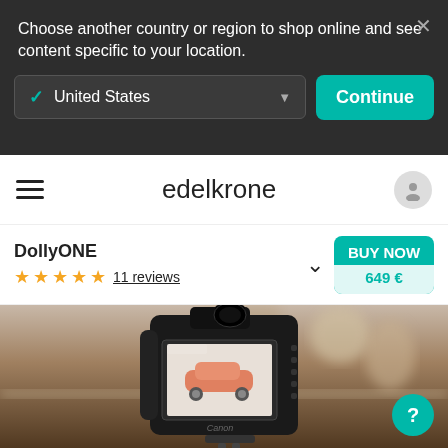Choose another country or region to shop online and see content specific to your location.
United States
Continue
edelkrone
DollyONE
11 reviews
BUY NOW
649 €
[Figure (photo): DSLR Canon camera rear view on a dolly/slider with blurred kitchen background, showing photo of a toy car on the camera screen.]